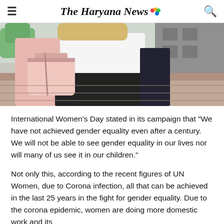The Haryana News
[Figure (photo): A young woman from the torso down wearing a white blouse, black skirt, and pink jacket, carrying a pink handbag, standing on a city street pavement.]
International Women's Day stated in its campaign that "We have not achieved gender equality even after a century. We will not be able to see gender equality in our lives nor will many of us see it in our children."
Not only this, according to the recent figures of UN Women, due to Corona infection, all that can be achieved in the last 25 years in the fight for gender equality. Due to the corona epidemic, women are doing more domestic work and its